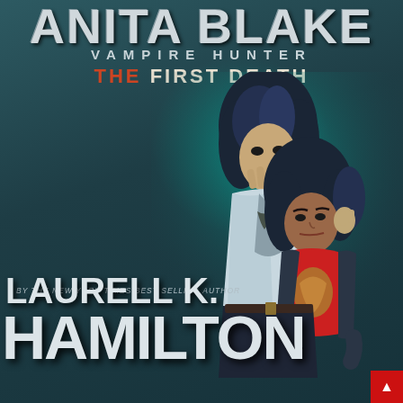ANITA BLAKE VAMPIRE HUNTER THE FIRST DEATH
[Figure (illustration): Comic book cover illustration showing two female figures with dark curly hair. The taller figure in the back wears a silver/white open shirt and holds a gun near her face. The shorter figure in front wears a red t-shirt and dark jacket, looking intensely at the viewer. Background is teal/dark green with atmospheric lighting.]
BY THE NEW YORK TIMES BEST SELLING AUTHOR
LAURELL K. HAMILTON